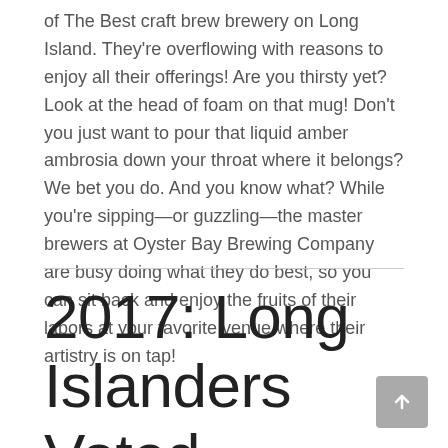of The Best craft brew brewery on Long Island. They're overflowing with reasons to enjoy all their offerings! Are you thirsty yet? Look at the head of foam on that mug! Don't you just want to pour that liquid amber ambrosia down your throat where it belongs? We bet you do. And you know what? While you're sipping—or guzzling—the master brewers at Oyster Bay Brewing Company are busy doing what they do best, so you can sit back and enjoy the fruits of their labors at your favorite venue where their artistry is on tap!
2017: Long Islanders Voted Barrage Brewing